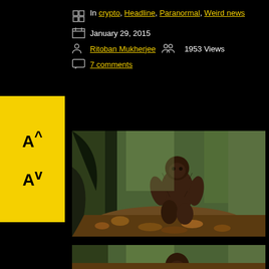In crypto, Headline, Paranormal, Weird news
January 29, 2015
Ritoban Mukherjee  1953 Views
7 comments
[Figure (photo): Bigfoot figurine standing in a forest among fallen leaves and tree roots, brown fur, upright posture, arms slightly extended]
[Figure (photo): Bigfoot figurine in a forest, partially visible, bottom portion of image cropped]